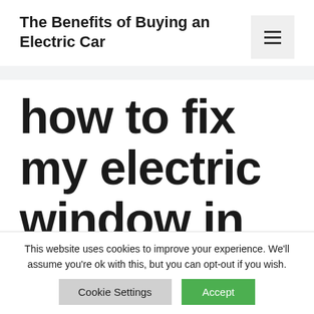The Benefits of Buying an Electric Car
how to fix my electric window in my car
This website uses cookies to improve your experience. We'll assume you're ok with this, but you can opt-out if you wish.
Cookie Settings | Accept